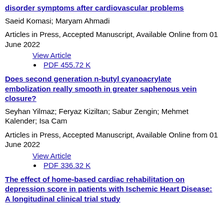disorder symptoms after cardiovascular problems
Saeid Komasi; Maryam Ahmadi
Articles in Press, Accepted Manuscript, Available Online from 01 June 2022
View Article
PDF 455.72 K
Does second generation n-butyl cyanoacrylate embolization really smooth in greater saphenous vein closure?
Seyhan Yilmaz; Feryaz Kiziltan; Sabur Zengin; Mehmet Kalender; Isa Cam
Articles in Press, Accepted Manuscript, Available Online from 01 June 2022
View Article
PDF 336.32 K
The effect of home-based cardiac rehabilitation on depression score in patients with Ischemic Heart Disease: A longitudinal clinical trial study